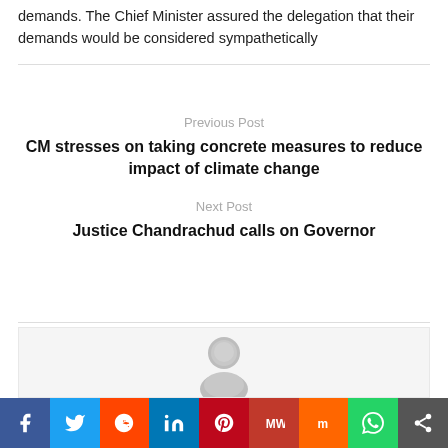demands. The Chief Minister assured the delegation that their demands would be considered sympathetically
Previous Post
CM stresses on taking concrete measures to reduce impact of climate change
Next Post
Justice Chandrachud calls on Governor
[Figure (illustration): Generic user avatar icon (grey circle with person silhouette)]
Social share bar: Facebook, Twitter, Reddit, LinkedIn, Pinterest, MeWe, Mix, WhatsApp, Share